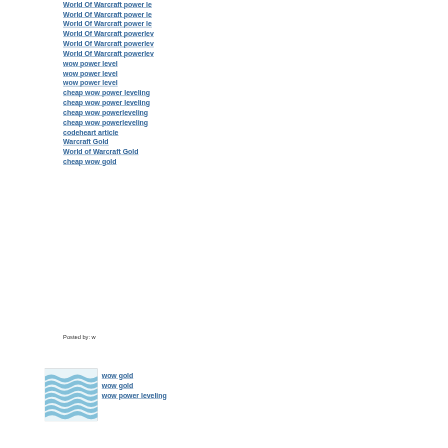World Of Warcraft power le
World Of Warcraft power le
World Of Warcraft power le
World Of Warcraft powerlev
World Of Warcraft powerlev
World Of Warcraft powerlev
wow power level
wow power level
wow power level
cheap wow power leveling
cheap wow power leveling
cheap wow powerleveling
cheap wow powerleveling
codeheart article
Warcraft Gold
World of Warcraft Gold
cheap wow gold
Posted by: w
[Figure (illustration): Small square thumbnail image with blue wavy lines pattern on white/light background]
wow gold
wow gold
wow power leveling